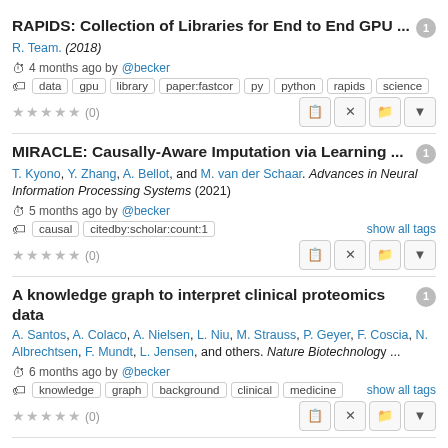RAPIDS: Collection of Libraries for End to End GPU ...
R. Team. (2018)
4 months ago by @becker
data  gpu  library  paper:fastcor  py  python  rapids  science
★★★★★ (0)
MIRACLE: Causally-Aware Imputation via Learning ...
T. Kyono, Y. Zhang, A. Bellot, and M. van der Schaar. Advances in Neural Information Processing Systems (2021)
5 months ago by @becker
causal  citedby:scholar:count:1
★★★★★ (0)
A knowledge graph to interpret clinical proteomics data
A. Santos, A. Colaco, A. Nielsen, L. Niu, M. Strauss, P. Geyer, F. Coscia, N. Albrechtsen, F. Mundt, L. Jensen, and others. Nature Biotechnology ...
6 months ago by @becker
knowledge  graph  background  clinical  medicine
★★★★★ (0)